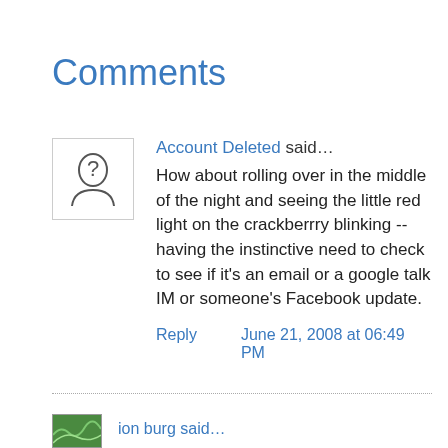Comments
Account Deleted said...
How about rolling over in the middle of the night and seeing the little red light on the crackberrry blinking -- having the instinctive need to check to see if it's an email or a google talk IM or someone's Facebook update.
Reply   June 21, 2008 at 06:49 PM